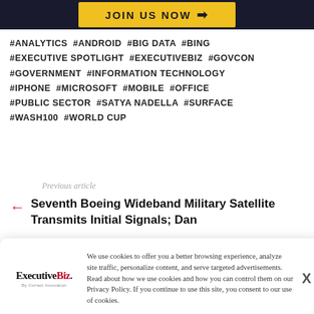[Figure (other): Dark navy banner with yellow 'JOIN US NOW →' button]
#ANALYTICS #ANDROID #BIG DATA #BING #EXECUTIVE SPOTLIGHT #EXECUTIVEBIZ #GOVCON #GOVERNMENT #INFORMATION TECHNOLOGY #IPHONE #MICROSOFT #MOBILE #OFFICE #PUBLIC SECTOR #SATYA NADELLA #SURFACE #WASH100 #WORLD CUP
Previous article
← Seventh Boeing Wideband Military Satellite Transmits Initial Signals; Dan
We use cookies to offer you a better browsing experience, analyze site traffic, personalize content, and serve targeted advertisements. Read about how we use cookies and how you can control them on our Privacy Policy. If you continue to use this site, you consent to our use of cookies.